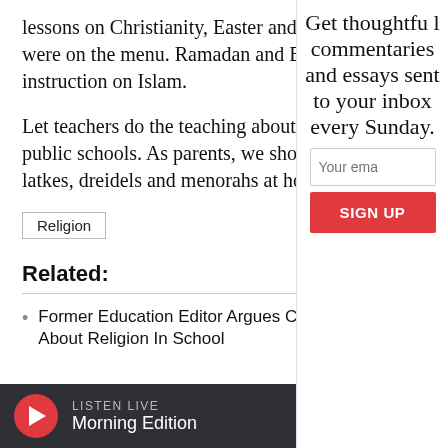lessons on Christianity, Easter and C were on the menu. Ramadan and Eid instruction on Islam.
Let teachers do the teaching about re public schools. As parents, we should latkes, dreidels and menorahs at home
Religion
Related:
Former Education Editor Argues Children About Religion In School
Get thoughtful commentaries and essays sent to your inbox every Sunday.
Your email
SIGN UP
LISTEN LIVE Morning Edition